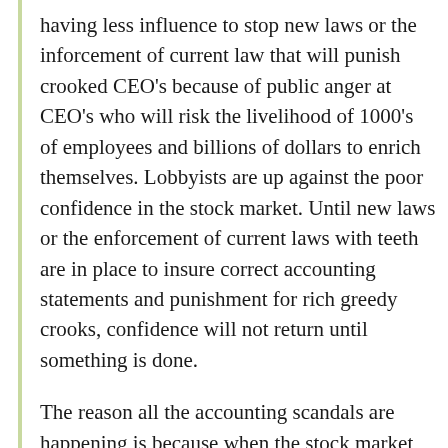having less influence to stop new laws or the inforcement of current law that will punish crooked CEO's because of public anger at CEO's who will risk the livelihood of 1000's of employees and billions of dollars to enrich themselves. Lobbyists are up against the poor confidence in the stock market. Until new laws or the enforcement of current laws with teeth are in place to insure correct accounting statements and punishment for rich greedy crooks, confidence will not return until something is done.
The reason all the accounting scandals are happening is because when the stock market was flying high it was a source of capital for companies to run the business to make loans and hide their debt for at least the last 10 years or so. Accounting statements show low debt, good earnings, which were blatant accounting lies to draw investor